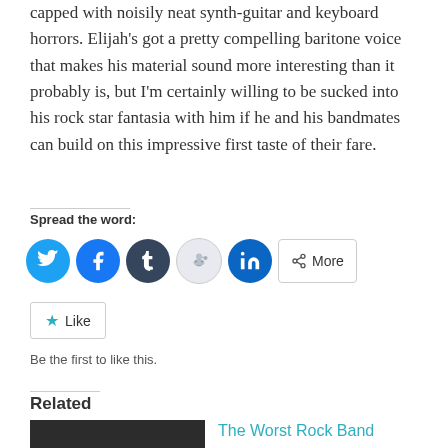capped with noisily neat synth-guitar and keyboard horrors. Elijah's got a pretty compelling baritone voice that makes his material sound more interesting than it probably is, but I'm certainly willing to be sucked into his rock star fantasia with him if he and his bandmates can build on this impressive first taste of their fare.
Spread the word:
[Figure (infographic): Social sharing buttons: Twitter (blue circle), Facebook (blue circle), Tumblr (dark circle), Reddit (light circle), LinkedIn (dark blue circle), and a More button]
[Figure (infographic): Like button with star icon]
Be the first to like this.
Related
[Figure (photo): Dark thumbnail image for related article]
The Worst Rock Band